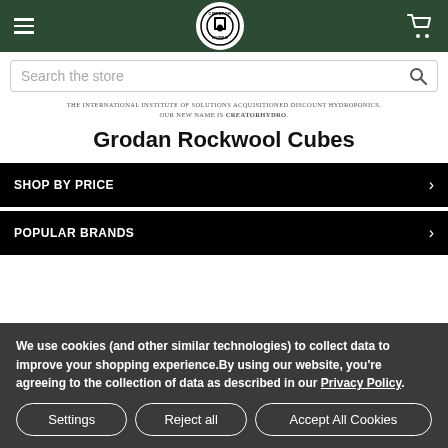[Figure (screenshot): Website header with dark green background showing hamburger menu icon on left, Creator Hydro circular logo in center, and shopping cart icon on right]
Search the store
THE INTERNATIONAL INSTITUTE OF SOLUTIONS ACQUISITIONED DISCOUNT HYDROPONICS. OUR NEW NAME IS CREATORHYDRO.
Grodan Rockwool Cubes
SHOP BY PRICE
POPULAR BRANDS
We use cookies (and other similar technologies) to collect data to improve your shopping experience.By using our website, you're agreeing to the collection of data as described in our Privacy Policy.
Settings | Reject all | Accept All Cookies